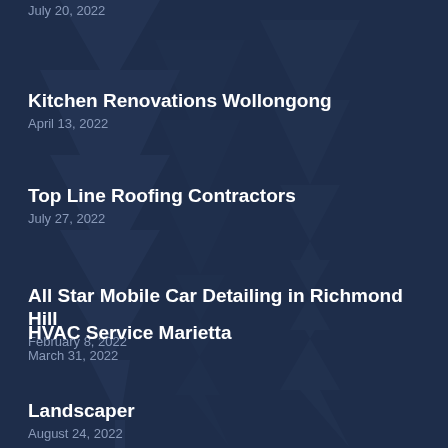July 20, 2022
Kitchen Renovations Wollongong
April 13, 2022
Top Line Roofing Contractors
July 27, 2022
All Star Mobile Car Detailing in Richmond Hill
February 8, 2022
HVAC Service Marietta
March 31, 2022
Landscaper
August 24, 2022